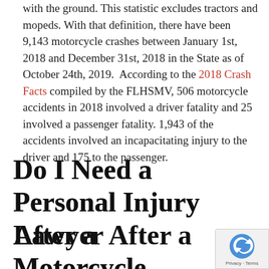with the ground. This statistic excludes tractors and mopeds. With that definition, there have been 9,143 motorcycle crashes between January 1st, 2018 and December 31st, 2018 in the State as of October 24th, 2019.  According to the 2018 Crash Facts compiled by the FLHSMV, 506 motorcycle accidents in 2018 involved a driver fatality and 25 involved a passenger fatality. 1,943 of the accidents involved an incapacitating injury to the driver and 175 to the passenger.
Do I Need a Personal Injury Lawyer After a Motorcycle Acciden